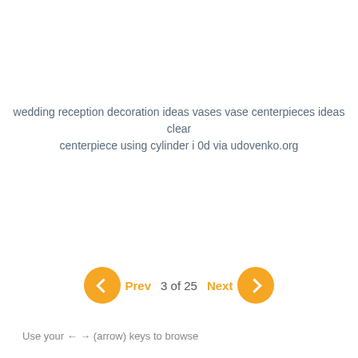wedding reception decoration ideas vases vase centerpieces ideas clear centerpiece using cylinder i 0d via udovenko.org
Prev  3 of 25  Next
Use your ← → (arrow) keys to browse